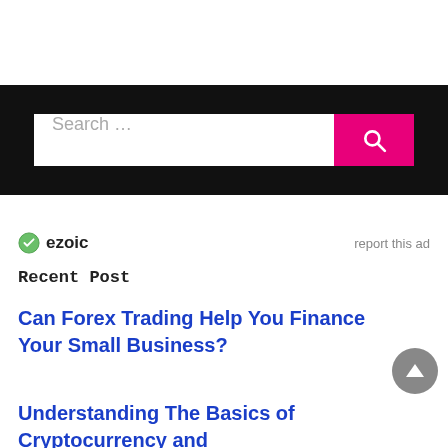[Figure (screenshot): Search bar with dark background, white input field reading 'Search ...' and a magenta/pink search button with a magnifying glass icon]
ezoic   report this ad
Recent Post
Can Forex Trading Help You Finance Your Small Business?
Understanding The Basics of Cryptocurrency and